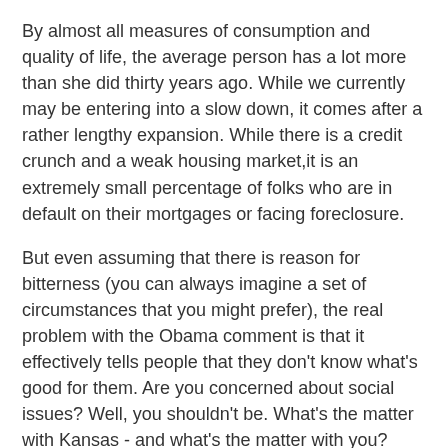By almost all measures of consumption and quality of life, the average person has a lot more than she did thirty years ago. While we currently may be entering into a slow down, it comes after a rather lengthy expansion. While there is a credit crunch and a weak housing market,it is an extremely small percentage of folks who are in default on their mortgages or facing foreclosure.
But even assuming that there is reason for bitterness (you can always imagine a set of circumstances that you might prefer), the real problem with the Obama comment is that it effectively tells people that they don't know what's good for them. Are you concerned about social issues? Well, you shouldn't be. What's the matter with Kansas - and what's the matter with you?
I still think it's a Democrat year, but I'm beginning to imagine what an Obama implosion might look like.
Rick Esenberg at 9:02 AM    10 comments: